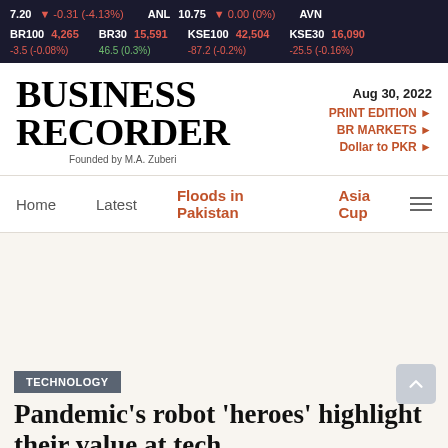7.20 ▼ -0.31 (-4.13%)   ANL 10.75 ▼ 0.00 (0%)   AVN   BR100 4,265 -3.5 (-0.08%)   BR30 15,591 46.5 (0.3%)   KSE100 42,504 -87.2 (-0.2%)   KSE30 16,090 -25.5 (-0.16%)
BUSINESS RECORDER
Founded by M.A. Zuberi
Aug 30, 2022
PRINT EDITION ►
BR MARKETS ►
Dollar to PKR ►
Home   Latest   Floods in Pakistan   Asia Cup
TECHNOLOGY
Pandemic's robot 'heroes' highlight their value at tech